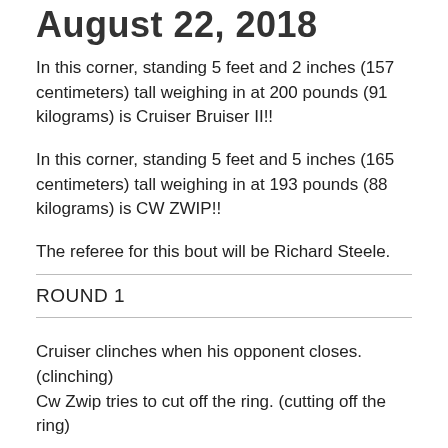August 22, 2018
In this corner, standing 5 feet and 2 inches (157 centimeters) tall weighing in at 200 pounds (91 kilograms) is Cruiser Bruiser II!!
In this corner, standing 5 feet and 5 inches (165 centimeters) tall weighing in at 193 pounds (88 kilograms) is CW ZWIP!!
The referee for this bout will be Richard Steele.
ROUND 1
Cruiser clinches when his opponent closes. (clinching)
Cw Zwip tries to cut off the ring. (cutting off the ring)
...